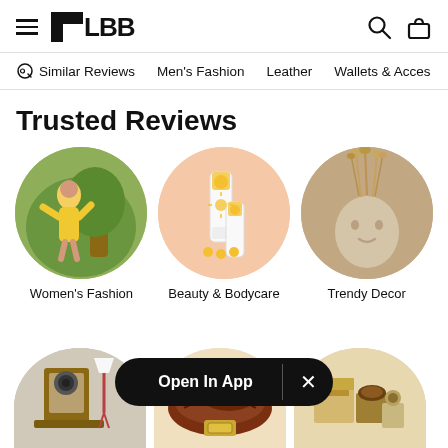LBB
Similar Reviews
Men's Fashion
Leather
Wallets & Acces...
Trusted Reviews
[Figure (photo): Circle image of woman in yellow dress - Women's Fashion]
Women's Fashion
[Figure (photo): Circle image of sunscreen products on peach background - Beauty & Bodycare]
Beauty & Bodycare
[Figure (photo): Circle image of decorative ceramic vase - Trendy Decor]
Trendy Decor
[Figure (photo): Partial circle image of home decor items]
[Figure (photo): Partial circle image of brown leather shoes with Open In App overlay]
[Figure (photo): Partial circle image of gift/wellness products]
Open In App